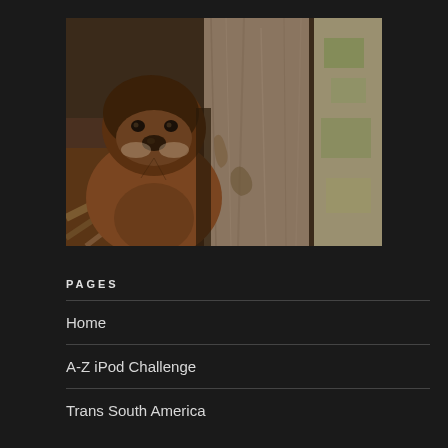[Figure (photo): A groundhog (woodchuck) peeking out from behind a tree trunk, looking directly at the camera. The animal has brown fur with a lighter face. The background shows forest floor with leaves and roots. The tree bark is prominent in the center-right of the image.]
PAGES
Home
A-Z iPod Challenge
Trans South America